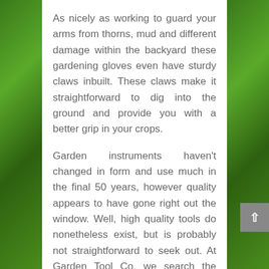As nicely as working to guard your arms from thorns, mud and different damage within the backyard these gardening gloves even have sturdy claws inbuilt. These claws make it straightforward to dig into the ground and provide you with a better grip in your crops.
Garden instruments haven't changed in form and use much in the final 50 years, however quality appears to have gone right out the window. Well, high quality tools do nonetheless exist, but is probably not straightforward to seek out. At Garden Tool Co, we search the world for high quality gardening products and convey them to you. A hoe is a classic backyard software.
The handles are padded and have a non-slip grip that means you'll be able to actually get to work when using these garden tools. They are sturdy